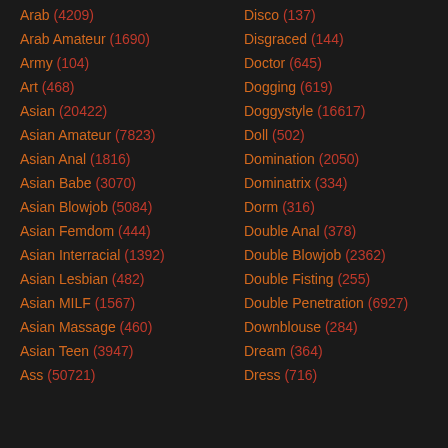Arab (4209)
Arab Amateur (1690)
Army (104)
Art (468)
Asian (20422)
Asian Amateur (7823)
Asian Anal (1816)
Asian Babe (3070)
Asian Blowjob (5084)
Asian Femdom (444)
Asian Interracial (1392)
Asian Lesbian (482)
Asian MILF (1567)
Asian Massage (460)
Asian Teen (3947)
Ass (50721)
Disco (137)
Disgraced (144)
Doctor (645)
Dogging (619)
Doggystyle (16617)
Doll (502)
Domination (2050)
Dominatrix (334)
Dorm (316)
Double Anal (378)
Double Blowjob (2362)
Double Fisting (255)
Double Penetration (6927)
Downblouse (284)
Dream (364)
Dress (716)